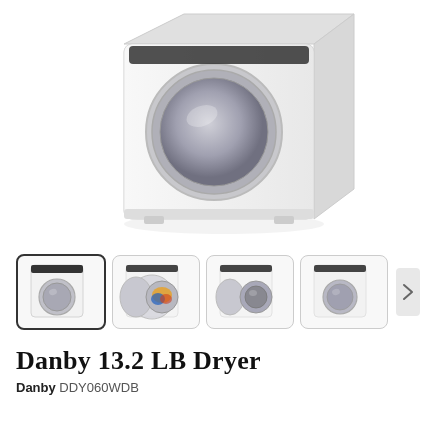[Figure (photo): Large product photo of a white Danby compact dryer shown at an angle, with a round silver door porthole and white boxy body against a white background.]
[Figure (photo): Row of four product thumbnail images of the Danby DDY060WDB dryer: 1) front view closed door, 2) open door showing colorful laundry inside, 3) open door showing drum interior, 4) front view closed door. A right-arrow navigation button appears after the fourth thumbnail.]
DANBY 13.2 LB DRYER
Danby DDY060WDB